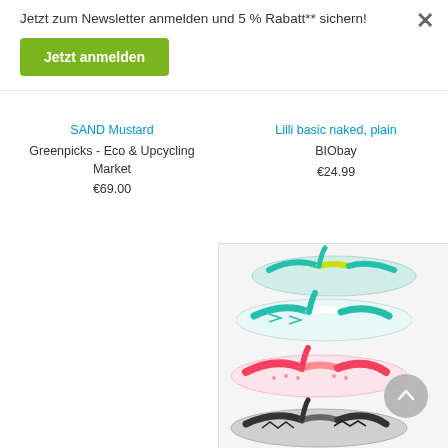Jetzt zum Newsletter anmelden und 5 % Rabatt** sichern!
Jetzt anmelden
SAND Mustard
Greenpicks - Eco & Upcycling Market
€69.00
Lilli basic naked, plain
BIObay
€24.99
[Figure (photo): Four pairs of flip flops / sandals in various color combinations: teal/yellow, white/teal, pink/white, and black/grey zigzag patterns]